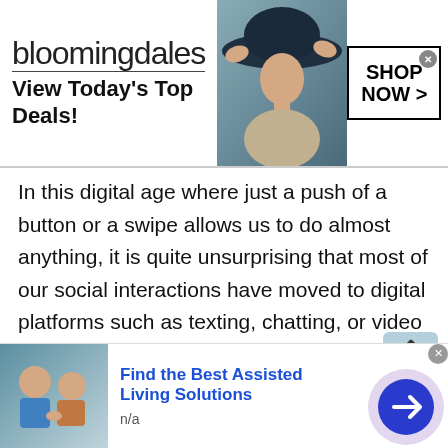[Figure (screenshot): Bloomingdale's advertisement banner showing logo, 'View Today's Top Deals!' tagline, a model wearing a large hat, and a 'SHOP NOW >' button]
In this digital age where just a push of a button or a swipe allows us to do almost anything, it is quite unsurprising that most of our social interactions have moved to digital platforms such as texting, chatting, or video calling. People who crave connection can log onto Talkwithstranger, a site for Tadzhik Chat Line whenever, and wherever they want.
The platform brings tremendous advantages to its users which explains the rapid growth of users on a daily basis. Here is why users pick our online chatting platform to
[Figure (screenshot): Bottom advertisement: 'Find the Best Assisted Living Solutions' with image of elderly person and a navigation button]